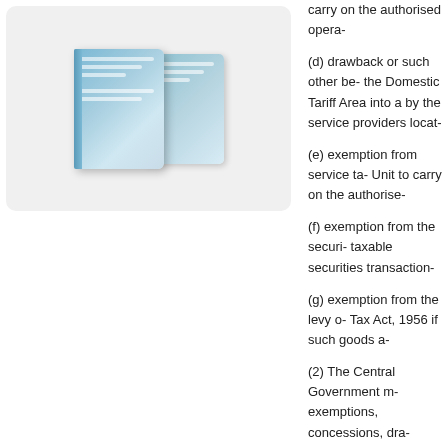[Figure (illustration): Book covers illustration showing two overlapping book/report covers with blue gradient design, displayed against a light gray rounded rectangle background]
carry on the authorised opera-
(d) drawback or such other be- the Domestic Tariff Area into a by the service providers locat-
(e) exemption from service ta- Unit to carry on the authorise-
(f) exemption from the securi- taxable securities transaction-
(g) exemption from the levy o- Tax Act, 1956 if such goods a-
(2) The Central Government m- exemptions, concessions, dra- section (1).
Provisions of Income-tax A- entrepreneurs
27. The provisions of the Inco- Developer or entrepreneur fo- modifications specified in the-
Duration of goods or servic-
28. The Central Government Unit or Special Economic Zo- Unit or Special Economic Zo-
Transfer of ownership and r-
29. The transfer of ownership-